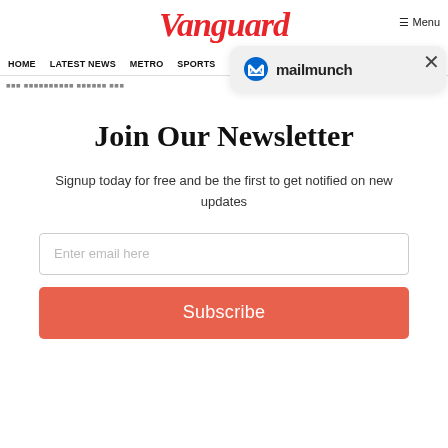Vanguard
HOME  LATEST NEWS  METRO  SPORTS  ENTERTAINMENT  VIDEOS
[Figure (logo): Mailmunch logo with blue M icon and 'mailmunch' text on a light grey rounded rectangle popup overlay]
Join Our Newsletter
Signup today for free and be the first to get notified on new updates
Enter email here
Subscribe